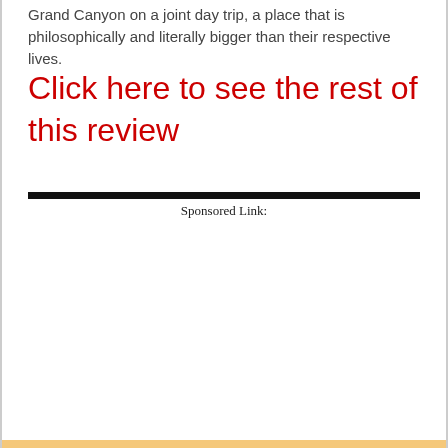Grand Canyon on a joint day trip, a place that is philosophically and literally bigger than their respective lives.
Click here to see the rest of this review
Sponsored Link: